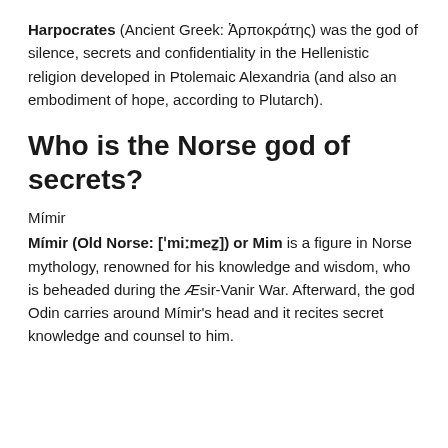Harpocrates (Ancient Greek: Ἁρποκράτης) was the god of silence, secrets and confidentiality in the Hellenistic religion developed in Ptolemaic Alexandria (and also an embodiment of hope, according to Plutarch).
Who is the Norse god of secrets?
Mímir
Mímir (Old Norse: [ˈmiːmeẕ]) or Mim is a figure in Norse mythology, renowned for his knowledge and wisdom, who is beheaded during the Æsir-Vanir War. Afterward, the god Odin carries around Mímir's head and it recites secret knowledge and counsel to him.